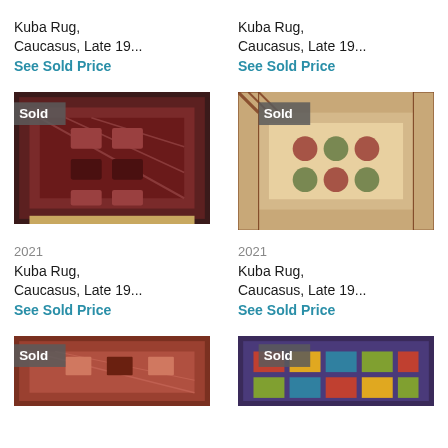Kuba Rug, Caucasus, Late 19...
See Sold Price
Kuba Rug, Caucasus, Late 19...
See Sold Price
[Figure (photo): Antique Kuba rug, dark red and dark tones, geometric pattern, Sold badge in top left]
[Figure (photo): Antique Kuba rug, beige/tan with red border, floral geometric pattern, Sold badge in top left]
2021
Kuba Rug, Caucasus, Late 19...
See Sold Price
2021
Kuba Rug, Caucasus, Late 19...
See Sold Price
[Figure (photo): Antique Kuba rug, reddish-brown tones, partially visible, Sold badge in top left]
[Figure (photo): Antique Kuba rug, colorful geometric pattern, partially visible, Sold badge in top left]